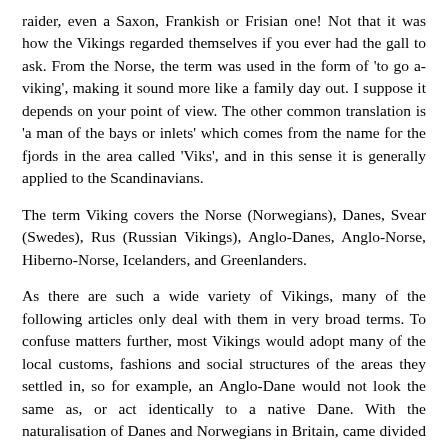raider, even a Saxon, Frankish or Frisian one! Not that it was how the Vikings regarded themselves if you ever had the gall to ask. From the Norse, the term was used in the form of 'to go a-viking', making it sound more like a family day out. I suppose it depends on your point of view. The other common translation is 'a man of the bays or inlets' which comes from the name for the fjords in the area called 'Viks', and in this sense it is generally applied to the Scandinavians.
The term Viking covers the Norse (Norwegians), Danes, Svear (Swedes), Rus (Russian Vikings), Anglo-Danes, Anglo-Norse, Hiberno-Norse, Icelanders, and Greenlanders.
As there are such a wide variety of Vikings, many of the following articles only deal with them in very broad terms. To confuse matters further, most Vikings would adopt many of the local customs, fashions and social structures of the areas they settled in, so for example, an Anglo-Dane would not look the same as, or act identically to a native Dane. With the naturalisation of Danes and Norwegians in Britain, came divided loyalties and aspirations.
The main question should be as to why they bothered to risk a potentially dangerous crossing to get to Britain. Usually, it was put down to the large population expansion in Scandinavia at the end of a period called the Migration Period. As a result of a small